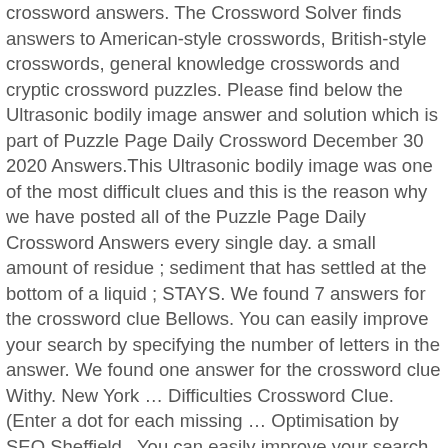crossword answers. The Crossword Solver finds answers to American-style crosswords, British-style crosswords, general knowledge crosswords and cryptic crossword puzzles. Please find below the Ultrasonic bodily image answer and solution which is part of Puzzle Page Daily Crossword December 30 2020 Answers.This Ultrasonic bodily image was one of the most difficult clues and this is the reason why we have posted all of the Puzzle Page Daily Crossword Answers every single day. a small amount of residue ; sediment that has settled at the bottom of a liquid ; STAYS. We found 7 answers for the crossword clue Bellows. You can easily improve your search by specifying the number of letters in the answer. We found one answer for the crossword clue Withy. New York … Difficulties Crossword Clue. (Enter a dot for each missing … Optimisation by SEO Sheffield . You can easily improve your search by specifying the number of letters in the answer. This time we are looking on the crossword puzzle clue for: New law student. The Crossword Solver found 200 answers to the